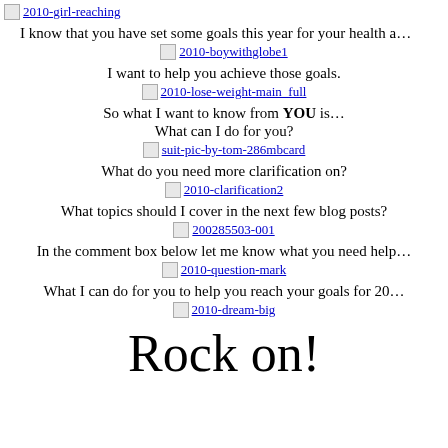[Figure (illustration): Broken image placeholder link: 2010-girl-reaching]
I know that you have set some goals this year for your health a…
[Figure (illustration): Broken image placeholder link: 2010-boywithglobe1]
I want to help you achieve those goals.
[Figure (illustration): Broken image placeholder link: 2010-lose-weight-main_full]
So what I want to know from YOU is…
What can I do for you?
[Figure (illustration): Broken image placeholder link: suit-pic-by-tom-286mbcard]
What do you need more clarification on?
[Figure (illustration): Broken image placeholder link: 2010-clarification2]
What topics should I cover in the next few blog posts?
[Figure (illustration): Broken image placeholder link: 200285503-001]
In the comment box below let me know what you need help…
[Figure (illustration): Broken image placeholder link: 2010-question-mark]
What I can do for you to help you reach your goals for 20…
[Figure (illustration): Broken image placeholder link: 2010-dream-big]
Rock on!